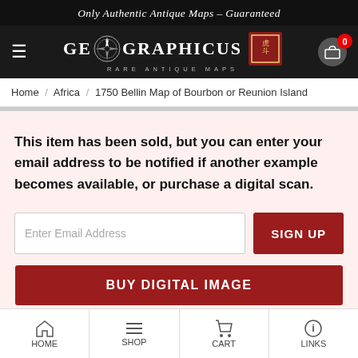Only Authentic Antique Maps – Guaranteed
[Figure (logo): Geographicus Rare Antique Maps logo with compass rose and Chinese seal]
Home / Africa / 1750 Bellin Map of Bourbon or Reunion Island
This item has been sold, but you can enter your email address to be notified if another example becomes available, or purchase a digital scan.
Enter Email Address
SIGN UP
BUY DIGITAL IMAGE
HOME  SHOP  CART  LINKS